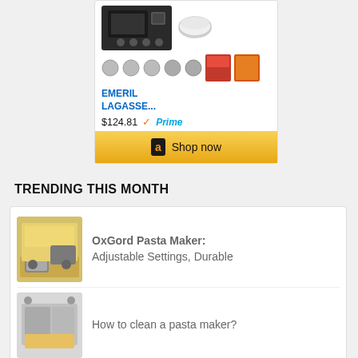[Figure (screenshot): Amazon product card showing Emeril Lagasse appliance at $124.81 with Prime badge and Shop now button]
TRENDING THIS MONTH
[Figure (photo): OxGord Pasta Maker machine with pasta sheets]
OxGord Pasta Maker: Adjustable Settings, Durable
[Figure (photo): Pasta maker attachments and accessories]
How to clean a pasta maker?
[Figure (photo): Pasta dish with tomatoes and basil]
AN EXPERT GUIDE TO THE BEST PASTA MAKERS OF